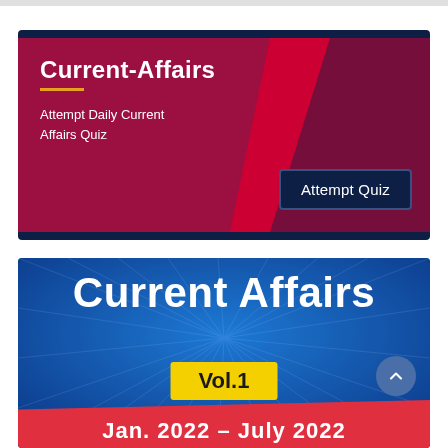[Figure (infographic): Current-Affairs banner with dark navy border, crimson background, red diagonal accent, gold underline, white title 'Current-Affairs', subtitle 'Attempt Daily Current Affairs Quiz', and a dark navy 'Attempt Quiz' button]
[Figure (infographic): Current Affairs Vol.1 banner with blue background, radial ray pattern, large white 'Current Affairs' title, yellow 'Vol.1' badge, scroll-up button, and red ribbon at bottom with 'Jan. 2022 – July 2022']